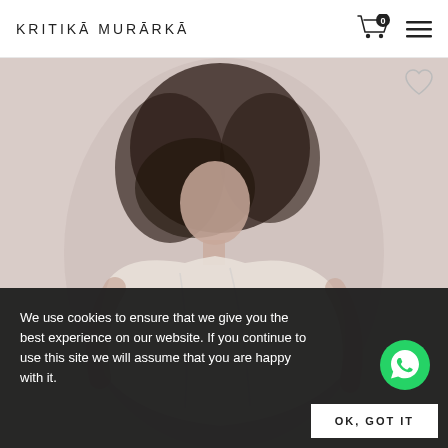KRITIKĀ MURĀRKĀ
[Figure (photo): Fashion model with voluminous dark hair wearing a white oversized garment, photographed against a pale pinkish-beige background]
We use cookies to ensure that we give you the best experience on our website. If you continue to use this site we will assume that you are happy with it.
[Figure (logo): WhatsApp icon - green circle with white phone/chat logo]
OK, GOT IT